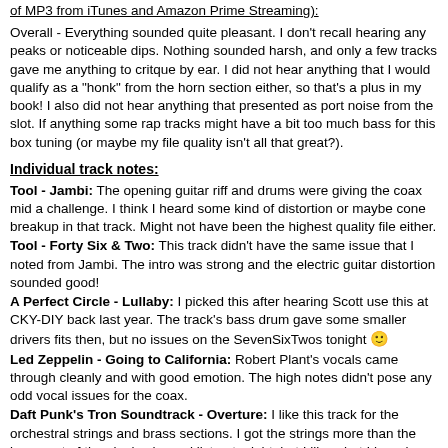of MP3 from iTunes and Amazon Prime Streaming):
Overall - Everything sounded quite pleasant. I don't recall hearing any peaks or noticeable dips. Nothing sounded harsh, and only a few tracks gave me anything to critque by ear. I did not hear anything that I would qualify as a "honk" from the horn section either, so that's a plus in my book! I also did not hear anything that presented as port noise from the slot. If anything some rap tracks might have a bit too much bass for this box tuning (or maybe my file quality isn't all that great?).
Individual track notes:
Tool - Jambi: The opening guitar riff and drums were giving the coax mid a challenge. I think I heard some kind of distortion or maybe cone breakup in that track. Might not have been the highest quality file either.
Tool - Forty Six & Two: This track didn't have the same issue that I noted from Jambi. The intro was strong and the electric guitar distortion sounded good!
A Perfect Circle - Lullaby: I picked this after hearing Scott use this at CKY-DIY back last year. The track's bass drum gave some smaller drivers fits then, but no issues on the SevenSixTwos tonight 🙂
Led Zeppelin - Going to California: Robert Plant's vocals came through cleanly and with good emotion. The high notes didn't pose any odd vocal issues for the coax.
Daft Punk's Tron Soundtrack - Overture: I like this track for the orchestral strings and brass sections. I got the strings more than the brass out of the single channel listen tonight, but I like what I heard.
Dire Straights - Money For Nothing, Sultans of Swing: The drums in Money were epic at the beginning! Knopfler's guitar solos in Sultans were very clean and sounded great!
The Matrix Revolution Soundtrack - Teahouse, Mona Lisa Overdrive: The japanese drums in the teahouse scene were nicely conveyed at moderate volume. The Mona Lisa Overdrive song from the freeway fight scene sounded good as well. Made me want to watch the movie!